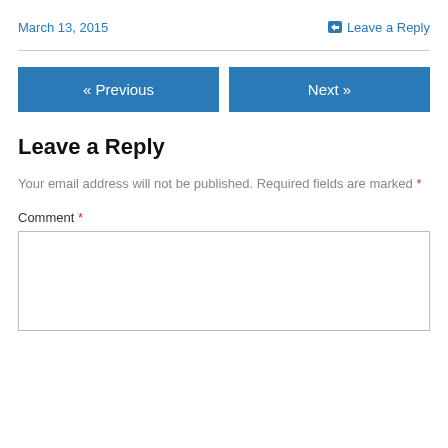March 13, 2015
Leave a Reply
« Previous
Next »
Leave a Reply
Your email address will not be published. Required fields are marked *
Comment *